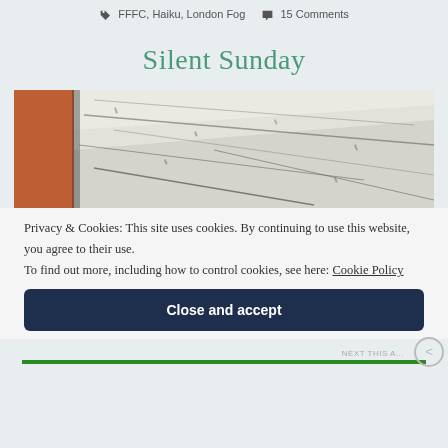FFFC, Haiku, London Fog  15 Comments
Silent Sunday
[Figure (photo): Close-up photo of peeling white paint on what appears to be a window frame or wooden surface, with red brick visible on the left side. The paint is cracked and chipping, revealing dark gaps beneath multiple layers.]
Privacy & Cookies: This site uses cookies. By continuing to use this website, you agree to their use.
To find out more, including how to control cookies, see here: Cookie Policy
Close and accept
NEXT THIS A...